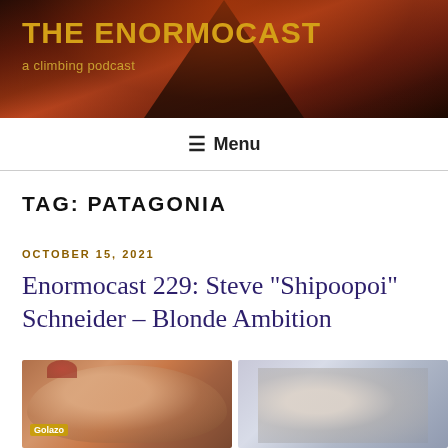THE ENORMOCAST
a climbing podcast
Menu
TAG: PATAGONIA
OCTOBER 15, 2021
Enormocast 229: Steve “Shipoopoi” Schneider – Blonde Ambition
[Figure (photo): Two photos side by side: left photo shows a smiling person wearing a red hat and glasses with a Golazo label visible, inside a tent or vehicle; right photo shows two people looking up, wearing winter gear, in a misty/foggy outdoor setting.]